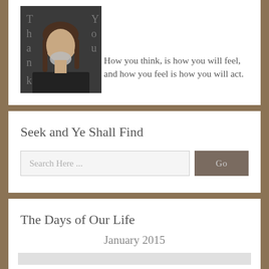[Figure (photo): Photo of a man with long hair and a beard wearing a dark jacket, with text 'Thank You' visible in the background]
How you think, is how you will feel, and how you feel is how you will act.
Seek and Ye Shall Find
Search Here ...
Go
The Days of Our Life
January 2015